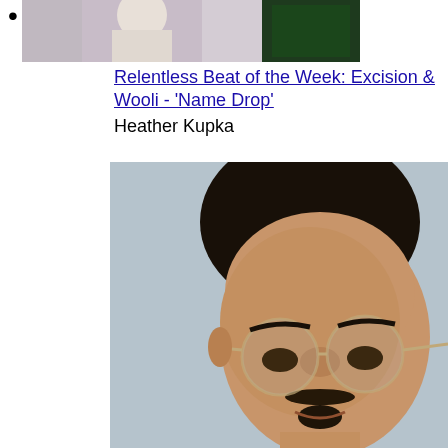[Figure (photo): Top strip showing partial photo of person in light top and another person in dark green top]
Relentless Beat of the Week: Excision & Wooli - 'Name Drop'
Heather Kupka
[Figure (photo): Portrait photo of a young man with dark curly hair, round wire-rimmed glasses, mustache and goatee, against a light blue-grey background]